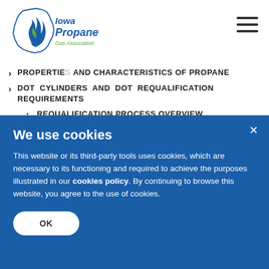[Figure (logo): Iowa Propane Gas Association logo with blue flame and green leaf on state outline]
PROPERTIES AND CHARACTERISTICS OF PROPANE
DOT CYLINDERS AND DOT REQUALIFICATION REQUIREMENTS
REQUALIFICATION PROCESS OVERVIEW
We use cookies
This website or its third-party tools uses cookies, which are necessary to its functioning and required to achieve the purposes illustrated in our cookies policy. By continuing to browse this website, you agree to the use of cookies.
OK